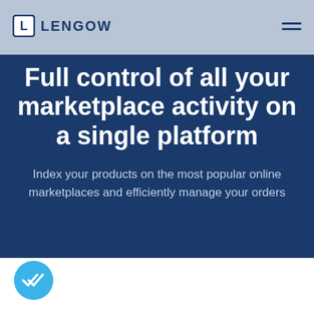LENGOW
Full control of all your marketplace activity on a single platform
Index your products on the most popular online marketplaces and efficiently manage your orders
[Figure (logo): Blue circular icon with a white double checkmark/tick symbol]